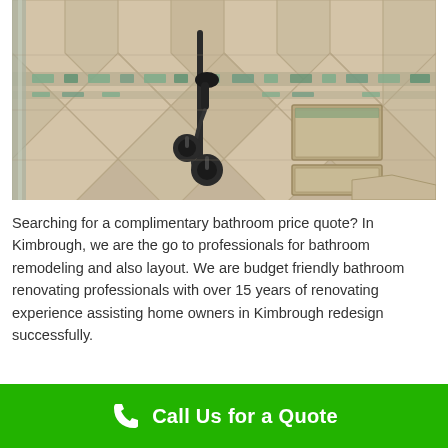[Figure (photo): Interior photo of a tiled walk-in shower with beige/tan stone-look tiles arranged in a diagonal pattern, decorative glass tile accent strips, a built-in niche, and dark matte black shower fixtures including a hand-held showerhead and dual control valves. A bench is visible in the lower right corner.]
Searching for a complimentary bathroom price quote? In Kimbrough, we are the go to professionals for bathroom remodeling and also layout. We are budget friendly bathroom renovating professionals with over 15 years of renovating experience assisting home owners in Kimbrough redesign successfully.
Call Us for a Quote